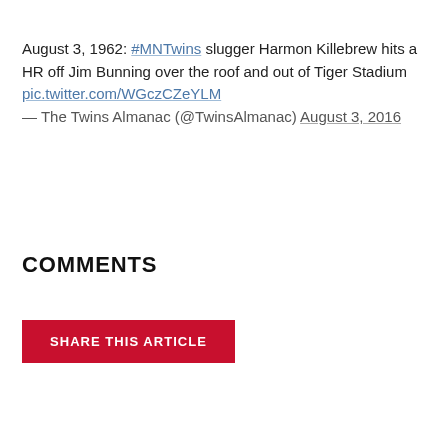August 3, 1962: #MNTwins slugger Harmon Killebrew hits a HR off Jim Bunning over the roof and out of Tiger Stadium pic.twitter.com/WGczCZeYLM — The Twins Almanac (@TwinsAlmanac) August 3, 2016
COMMENTS
SHARE THIS ARTICLE